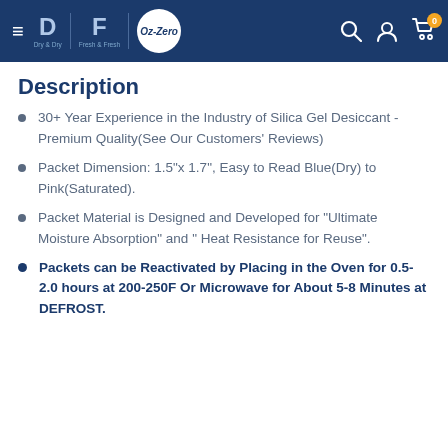Dry & Dry | Fresh & Fresh | Oz-Zero [navigation bar with search, account, and cart icons]
Description
30+ Year Experience in the Industry of Silica Gel Desiccant - Premium Quality(See Our Customers' Reviews)
Packet Dimension: 1.5"x 1.7", Easy to Read Blue(Dry) to Pink(Saturated).
Packet Material is Designed and Developed for "Ultimate Moisture Absorption" and " Heat Resistance for Reuse".
Packets can be Reactivated by Placing in the Oven for 0.5-2.0 hours at 200-250F Or Microwave for About 5-8 Minutes at DEFROST.